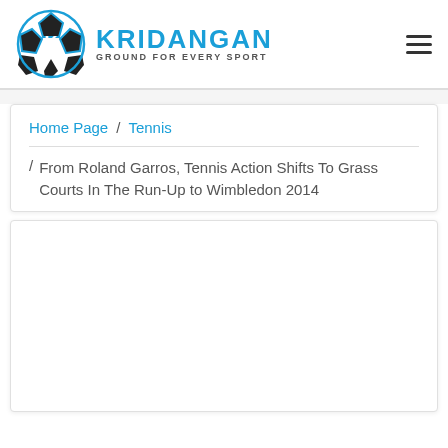[Figure (logo): Kridangan logo: soccer ball icon with letter K, blue and black colors, with text KRIDANGAN and tagline GROUND FOR EVERY SPORT]
Home Page / Tennis / From Roland Garros, Tennis Action Shifts To Grass Courts In The Run-Up to Wimbledon 2014